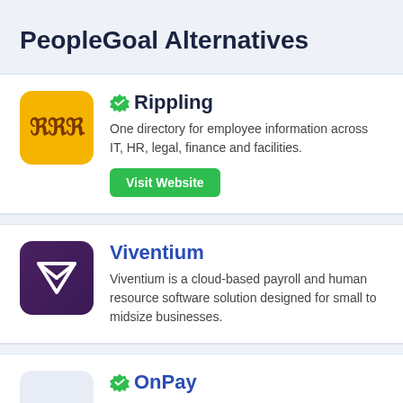PeopleGoal Alternatives
Rippling
One directory for employee information across IT, HR, legal, finance and facilities.
Visit Website
Viventium
Viventium is a cloud-based payroll and human resource software solution designed for small to midsize businesses.
OnPay